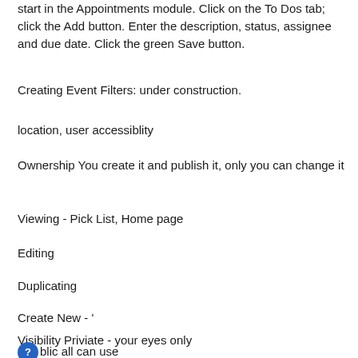start in the Appointments module. Click on the To Dos tab; click the Add button. Enter the description, status, assignee and due date. Click the green Save button.
Creating Event Filters: under construction.
location, user accessiblity
Ownership You create it and publish it, only you can change it
Viewing - Pick List, Home page
Editing
Duplicating
Create New - '
Visibility Priviate - your eyes only
blic all can use